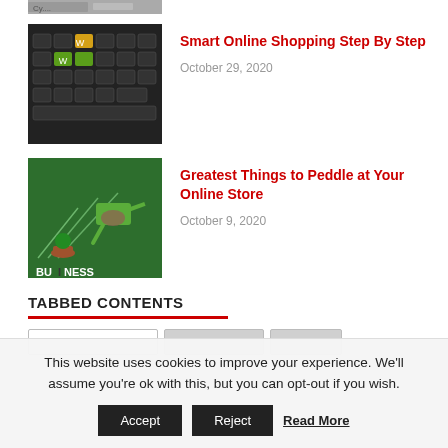[Figure (photo): Partial top of a keyboard or logo image, cropped at top of page]
[Figure (photo): Black keyboard with yellow and green keys]
Smart Online Shopping Step By Step
October 29, 2020
[Figure (photo): Green chalkboard with business plant and watering can, text BUSINESS]
Greatest Things to Peddle at Your Online Store
October 9, 2020
TABBED CONTENTS
[Figure (other): Tab bar with three tab buttons partially visible]
This website uses cookies to improve your experience. We'll assume you're ok with this, but you can opt-out if you wish.
Accept  Reject  Read More